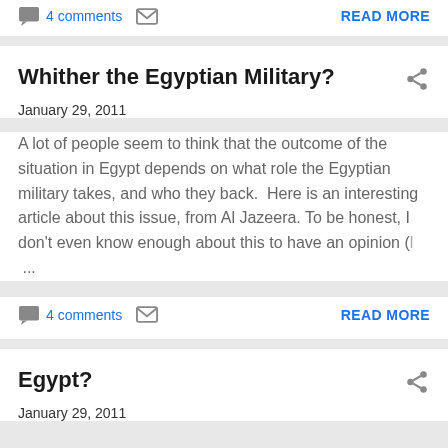4 comments   READ MORE
Whither the Egyptian Military?
January 29, 2011
A lot of people seem to think that the outcome of the situation in Egypt depends on what role the Egyptian military takes, and who they back.  Here is an interesting article about this issue, from Al Jazeera. To be honest, I don't even know enough about this to have an opinion (l ...
4 comments   READ MORE
Egypt?